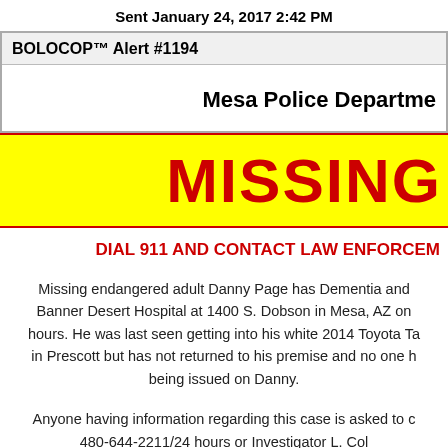Sent January 24, 2017 2:42 PM
BOLOCOP™ Alert #1194
Mesa Police Department
MISSING
DIAL 911 AND CONTACT LAW ENFORCEMENT
Missing endangered adult Danny Page has Dementia and Banner Desert Hospital at 1400 S. Dobson in Mesa, AZ on hours. He was last seen getting into his white 2014 Toyota Ta in Prescott but has not returned to his premise and no one h being issued on Danny.
Anyone having information regarding this case is asked to c 480-644-2211/24 hours or Investigator L. Col